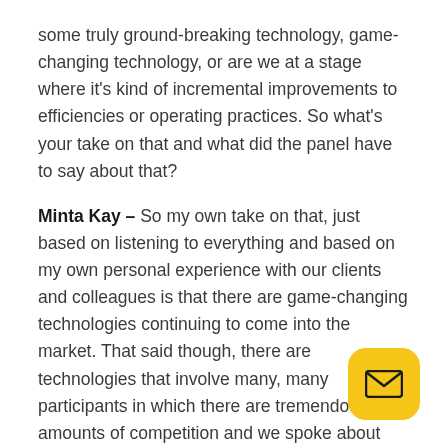some truly ground-breaking technology, game-changing technology, or are we at a stage where it's kind of incremental improvements to efficiencies or operating practices. So what's your take on that and what did the panel have to say about that?
Minta Kay – So my own take on that, just based on listening to everything and based on my own personal experience with our clients and colleagues is that there are game-changing technologies continuing to come into the market. That said though, there are technologies that involve many, many participants in which there are tremendous amounts of competition and we spoke about that on the panel today. It was interesting to me in that the VCs didn't fear for that, for the people out in the market, they simply articulated that good companies will succeed and bad companies will fail and they don't...
[Figure (other): Yellow rounded square email button icon in bottom-right corner]